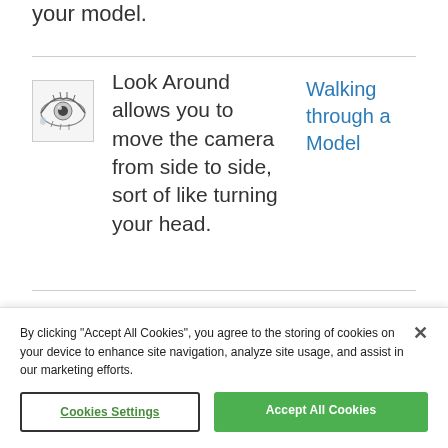your model.
Look Around allows you to move the camera from side to side, sort of like turning your head.
[Figure (illustration): Grayscale illustration of an eye icon]
Walking through a Model
Orbit enables
By clicking “Accept All Cookies”, you agree to the storing of cookies on your device to enhance site navigation, analyze site usage, and assist in our marketing efforts.
Cookies Settings
Accept All Cookies